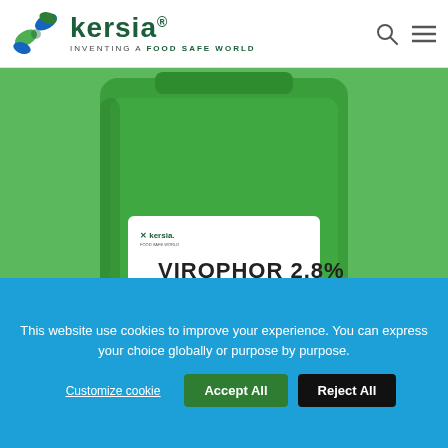[Figure (logo): Kersia logo with butterfly/leaves icon in blue and green, brand name 'kersia' in dark green, tagline 'INVENTING A FOOD SAFE WORLD']
[Figure (photo): Green plastic container/canister with a white label showing 'VIROPHOR 2.8%' in bold black text, kersia logo on label, and small text details below the product name]
This website use cookies to improve your experience. You can express your choice globally or purpose by purpose.
Customize cookie   Accept All   Reject All